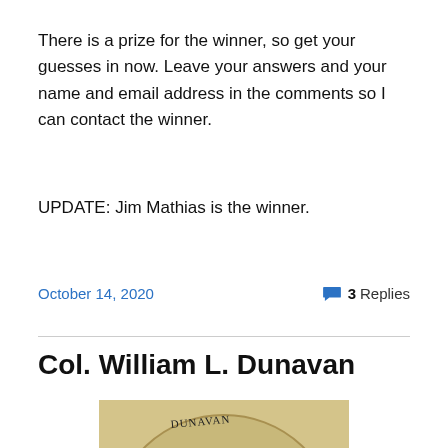There is a prize for the winner, so get your guesses in now. Leave your answers and your name and email address in the comments so I can contact the winner.
UPDATE: Jim Mathias is the winner.
October 14, 2020
3 Replies
Col. William L. Dunavan
[Figure (photo): An old sepia oval portrait photograph of two people, a woman on the left and a man on the right. Handwritten labels around the oval read 'ELIZA', 'DUNAVAN', and 'WILLIAM DUNAVAN'.]